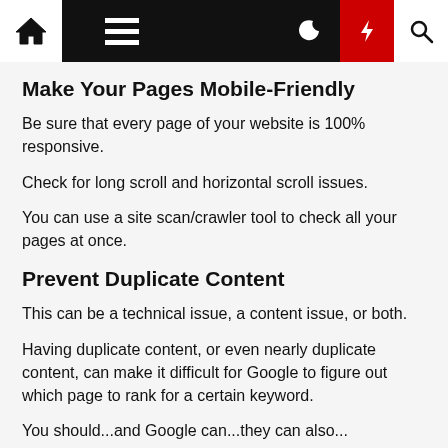Navigation bar with home, menu, moon, lightning, search icons
Make Your Pages Mobile-Friendly
Be sure that every page of your website is 100% responsive.
Check for long scroll and horizontal scroll issues.
You can use a site scan/crawler tool to check all your pages at once.
Prevent Duplicate Content
This can be a technical issue, a content issue, or both.
Having duplicate content, or even nearly duplicate content, can make it difficult for Google to figure out which page to rank for a certain keyword.
You should...and Google can...they can also...